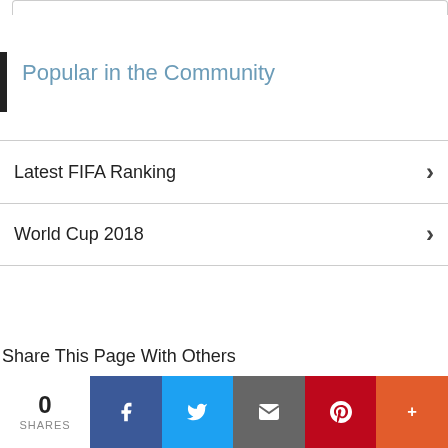Popular in the Community
Latest FIFA Ranking
World Cup 2018
Share This Page With Others
0 SHARES